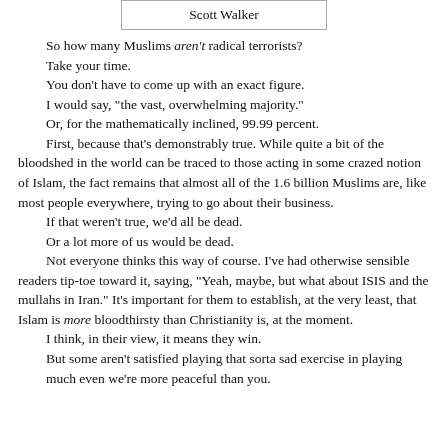Scott Walker
So how many Muslims aren't radical terrorists?
Take your time.
You don't have to come up with an exact figure.
I would say, "the vast, overwhelming majority."
Or, for the mathematically inclined, 99.99 percent.
    First, because that's demonstrably true. While quite a bit of the bloodshed in the world can be traced to those acting in some crazed notion of Islam, the fact remains that almost all of the 1.6 billion Muslims are, like most people everywhere, trying to go about their business.
If that weren't true, we'd all be dead.
Or a lot more of us would be dead.
    Not everyone thinks this way of course. I've had otherwise sensible readers tip-toe toward it, saying, "Yeah, maybe, but what about ISIS and the mullahs in Iran." It's important for them to establish, at the very least, that Islam is more bloodthirsty than Christianity is, at the moment.
I think, in their view, it means they win.
But some aren't satisfied playing that sorta sad exercise in playing much even we're more peaceful than you.